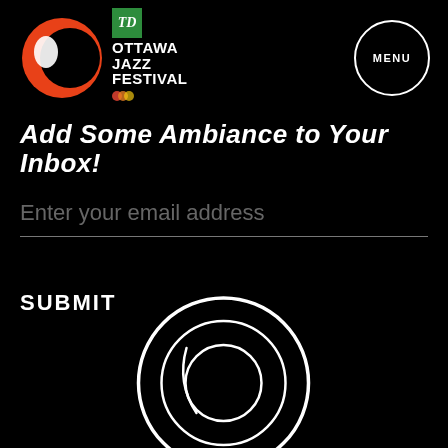[Figure (logo): TD Ottawa Jazz Festival logo with orange circle graphic and TD green square badge, plus OBC logos to the right]
[Figure (logo): MENU button — white circle outline with MENU text]
Add Some Ambiance to Your Inbox!
Enter your email address
SUBMIT
[Figure (logo): Ottawa Jazz Festival white outline circle logo watermark at bottom center]